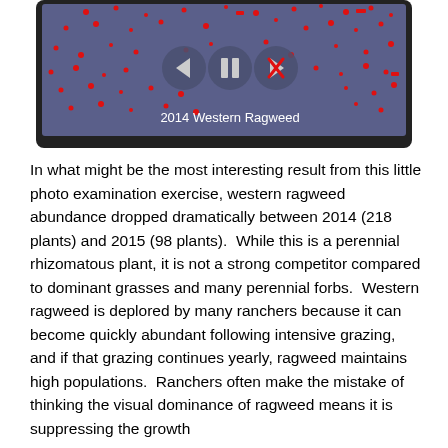[Figure (screenshot): A tablet/phone screenshot showing a scatter of red dots on a dark blue/purple background representing plant locations. Three circular navigation buttons (left arrow, pause, right arrow with X) are centered. Text at the bottom reads '2014 Western Ragweed'.]
In what might be the most interesting result from this little photo examination exercise, western ragweed abundance dropped dramatically between 2014 (218 plants) and 2015 (98 plants).  While this is a perennial rhizomatous plant, it is not a strong competitor compared to dominant grasses and many perennial forbs.  Western ragweed is deplored by many ranchers because it can become quickly abundant following intensive grazing, and if that grazing continues yearly, ragweed maintains high populations.  Ranchers often make the mistake of thinking the visual dominance of ragweed means it is suppressing the growth